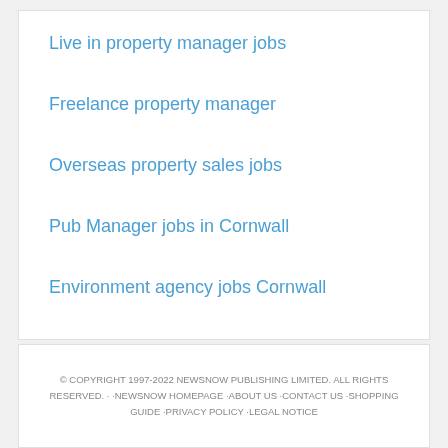Live in property manager jobs
Freelance property manager
Overseas property sales jobs
Pub Manager jobs in Cornwall
Environment agency jobs Cornwall
© COPYRIGHT 1997-2022 NEWSNOW PUBLISHING LIMITED. ALL RIGHTS RESERVED. · ·NEWSNOW HOMEPAGE ·ABOUT US ·CONTACT US ·SHOPPING GUIDE ·PRIVACY POLICY ·LEGAL NOTICE